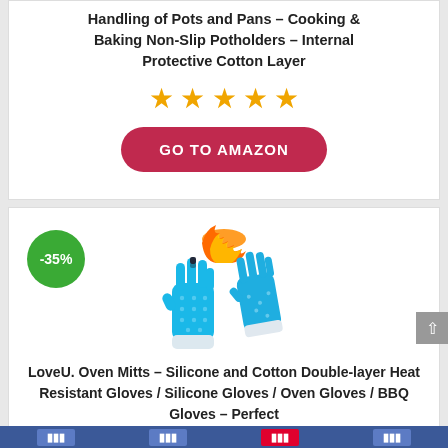Handling of Pots and Pans – Cooking & Baking Non-Slip Potholders – Internal Protective Cotton Layer
[Figure (other): Five orange/gold star rating icons]
GO TO AMAZON
-35%
[Figure (photo): Blue silicone oven mitts / gloves with flames graphic on white background]
LoveU. Oven Mitts – Silicone and Cotton Double-layer Heat Resistant Gloves / Silicone Gloves / Oven Gloves / BBQ Gloves – Perfect